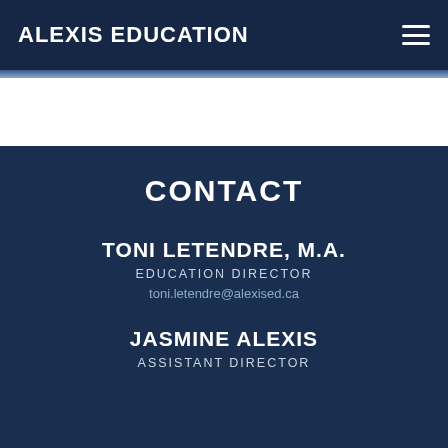ALEXIS EDUCATION
CONTACT
TONI LETENDRE, M.A.
EDUCATION DIRECTOR
toni.letendre@alexised.ca
JASMINE ALEXIS
ASSISTANT DIRECTOR